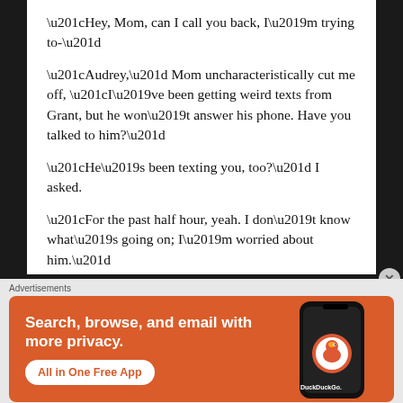“Hey, Mom, can I call you back, I’m trying to-”
“Audrey,” Mom uncharacteristically cut me off, “I’ve been getting weird texts from Grant, but he won’t answer his phone. Have you talked to him?”
“He’s been texting you, too?” I asked.
“For the past half hour, yeah. I don’t know what’s going on; I’m worried about him.”
“Me too,” I admitted.
“I’m out visiting Grandma; can you drop by the
Advertisements
[Figure (other): DuckDuckGo advertisement banner with orange background. Text reads: Search, browse, and email with more privacy. All in One Free App. Shows a phone with DuckDuckGo logo.]